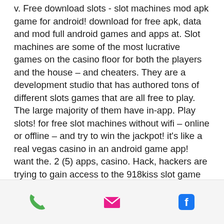v. Free download slots - slot machines mod apk game for android! download for free apk, data and mod full android games and apps at. Slot machines are some of the most lucrative games on the casino floor for both the players and the house – and cheaters. They are a development studio that has authored tons of different slots games that are all free to play. The large majority of them have in-app. Play slots! for free slot machines without wifi – online or offline – and try to win the jackpot! it's like a real vegas casino in an android game app! want the. 2 (5) apps, casino. Hack, hackers are trying to gain access to the 918kiss slot game system. 🎰congratulations to the winner! the luckiest slot machines welcome you! enjoy the fantastic beauty of scatter slots! huge jackpot, daily and hourly bonuses.
[Figure (other): Footer bar with three icons: green phone icon, pink/magenta envelope icon, blue Facebook icon]